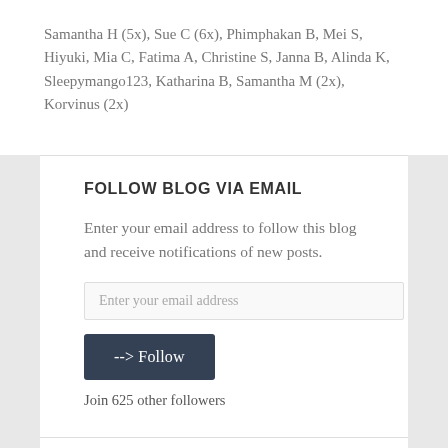Samantha H (5x), Sue C (6x), Phimphakan B, Mei S, Hiyuki, Mia C, Fatima A, Christine S, Janna B, Alinda K, Sleepymango123, Katharina B, Samantha M (2x), Korvinus (2x)
FOLLOW BLOG VIA EMAIL
Enter your email address to follow this blog and receive notifications of new posts.
Enter your email address
--> Follow
Join 625 other followers
Follow Lone Wolf Translations